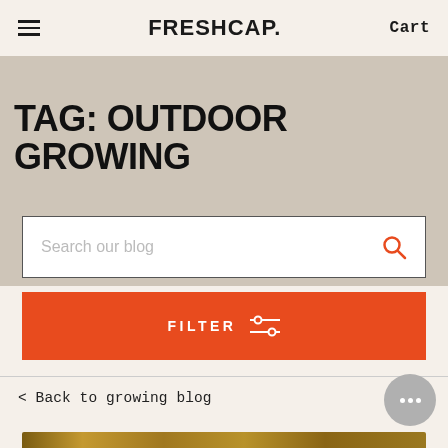FreshCap — Cart
TAG: OUTDOOR GROWING
Search our blog
FILTER
< Back to growing blog